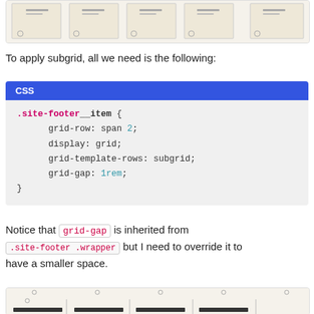[Figure (illustration): Diagram showing CSS subgrid layout with multiple column areas, small icons and horizontal lines indicating grid structure, on a beige/cream background.]
To apply subgrid, all we need is the following:
[Figure (screenshot): CSS code block with blue 'CSS' header label, showing: .site-footer__item { grid-row: span 2; display: grid; grid-template-rows: subgrid; grid-gap: 1rem; }]
Notice that grid-gap is inherited from .site-footer .wrapper but I need to override it to have a smaller space.
[Figure (illustration): Diagram showing CSS subgrid layout result with grid columns and rows indicated, on a beige background.]